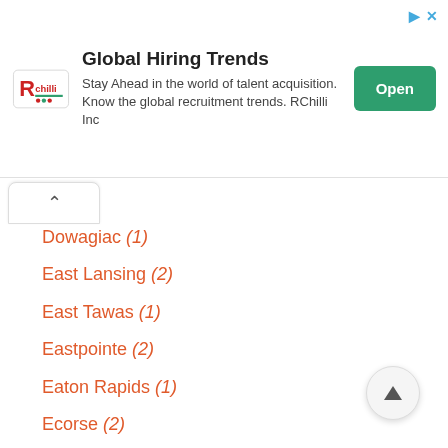[Figure (logo): RChilli logo with red and green design]
Global Hiring Trends
Stay Ahead in the world of talent acquisition. Know the global recruitment trends. RChilli Inc
Dowagiac (1)
East Lansing (2)
East Tawas (1)
Eastpointe (2)
Eaton Rapids (1)
Ecorse (2)
Edwardsburg (1)
Elk Rapids (1)
Ellsworth (1)